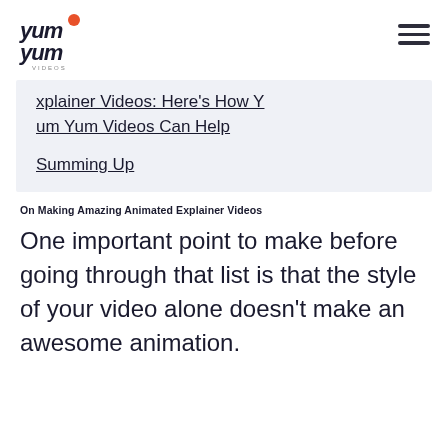[Figure (logo): Yum Yum Videos logo — stylized handwritten text 'yum yum' with an orange circle accent, subtitle 'VIDEOS']
xplainer Videos: Here's How Yum Yum Videos Can Help
Summing Up
On Making Amazing Animated Explainer Videos
One important point to make before going through that list is that the style of your video alone doesn't make an awesome animation.